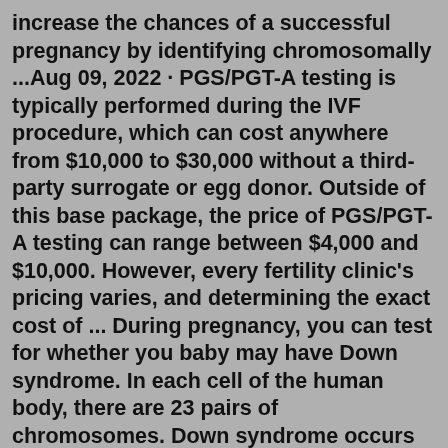increase the chances of a successful pregnancy by identifying chromosomally ...Aug 09, 2022 · PGS/PGT-A testing is typically performed during the IVF procedure, which can cost anywhere from $10,000 to $30,000 without a third-party surrogate or egg donor. Outside of this base package, the price of PGS/PGT-A testing can range between $4,000 and $10,000. However, every fertility clinic's pricing varies, and determining the exact cost of ... During pregnancy, you can test for whether you baby may have Down syndrome. In each cell of the human body, there are 23 pairs of chromosomes. Down syndrome occurs when a baby has an extra copy of chromosome 21. For this reason, some people refer to Down syndrome as "trisomy 21." Children born with Down syndrome can face intellectual disabilities, developmental challenges, and health ...Carrier Screening. Carrier screening can help determine if you and your partner are at an increased risk of having a baby with a specific inherited disorder, such as cystic fibrosis, sickle cell anemia, or Tay-Sachs. For...